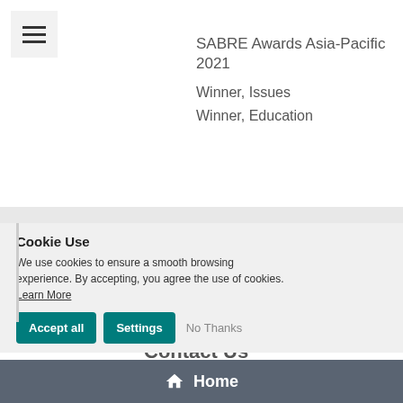[Figure (other): Hamburger menu button with three horizontal lines]
SABRE Awards Asia-Pacific 2021
Winner, Issues
Winner, Education
Cookie Use
We use cookies to ensure a smooth browsing experience. By accepting, you agree the use of cookies. Learn More
ith us!
nsultants, freelancers,
eators and writers
Asia Pacific.
ok for interns!
Contact Us
Home